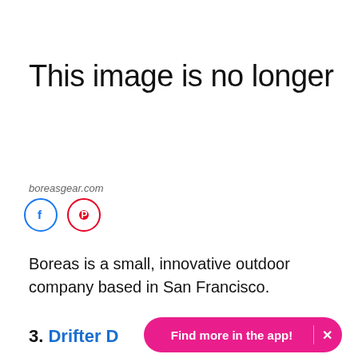This image is no longer
boreasgear.com
[Figure (other): Social share icons: Facebook (blue circle) and Pinterest (red circle)]
Boreas is a small, innovative outdoor company based in San Francisco.
3. Drifter D
Find more in the app!  ×